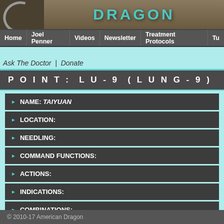[Figure (screenshot): Website header with logo crescent and 'DRAGON' text on wood-textured background]
Home | Joel Penner | Videos | Newsletter | Treatment Protocols | Tu...
Ask The Doctor | Donate
POINT: LU-9 (LUNG-9)
NAME: TAIYUAN
LOCATION:
NEEDLING:
COMMAND FUNCTIONS:
ACTIONS:
INDICATIONS:
COMBINATIONS:
CONTRAINDICATIONS:
NOTES:
© 2010-17 American Dragon